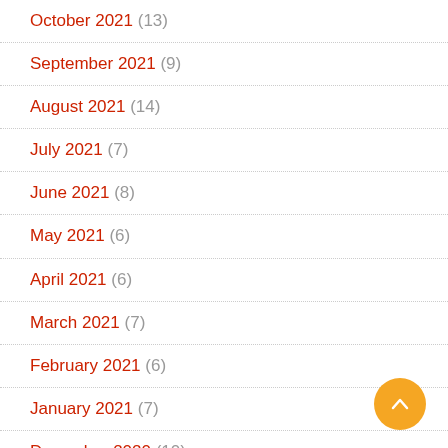October 2021 (13)
September 2021 (9)
August 2021 (14)
July 2021 (7)
June 2021 (8)
May 2021 (6)
April 2021 (6)
March 2021 (7)
February 2021 (6)
January 2021 (7)
December 2020 (10)
November 2020 (13)